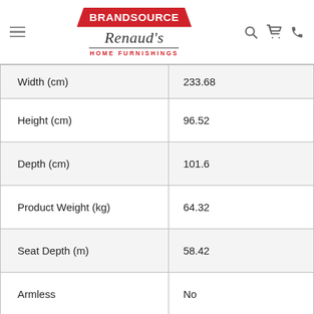BrandSource Renaud's Home Furnishings
| Width (cm) | 233.68 |
| Height (cm) | 96.52 |
| Depth (cm) | 101.6 |
| Product Weight (kg) | 64.32 |
| Seat Depth (m) | 58.42 |
| Armless | No |